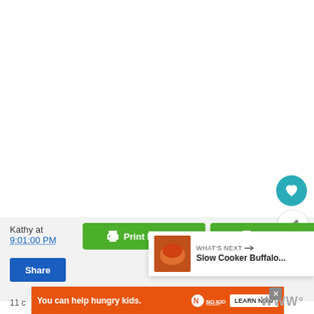[Figure (screenshot): White empty top area of a webpage]
[Figure (illustration): Teal circular heart/favorite button]
[Figure (illustration): White circular share/add button with share icon]
Kathy at
9:01:00 PM
[Figure (illustration): Green 'Print Friendly' button with printer icon]
[Figure (illustration): Green 'Print Friendly' partially visible second button]
[Figure (illustration): Blue 'Share' button]
[Figure (illustration): What's Next popup showing 'Slow Cooker Buffalo...' with food thumbnail]
[Figure (illustration): Orange advertisement banner: 'You can help hungry kids.' No Kid Hungry with LEARN NOW button]
11 c
WWW°